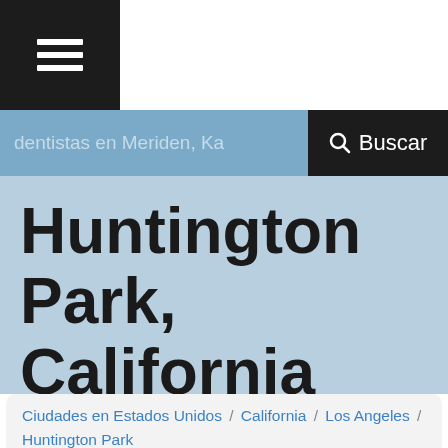[Figure (screenshot): Hamburger menu icon (three horizontal white lines) on dark background]
dentistas en Meriden, Ka
🔍 Buscar
Huntington Park, California
Ciudades en Estados Unidos / California / Los Angeles / Huntington Park / Servicios en Huntington Park, California / Iglesia catolica latina en Huntington Park, California